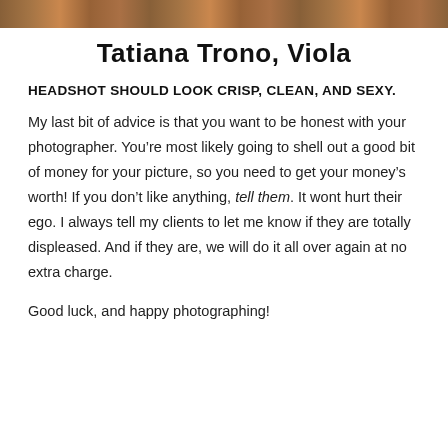[Figure (photo): Partial photo at top of page showing what appears to be a musician with an instrument, cropped at the bottom of the image strip.]
Tatiana Trono, Viola
HEADSHOT SHOULD LOOK CRISP, CLEAN, AND SEXY.
My last bit of advice is that you want to be honest with your photographer. You’re most likely going to shell out a good bit of money for your picture, so you need to get your money’s worth! If you don’t like anything, tell them. It wont hurt their ego. I always tell my clients to let me know if they are totally displeased. And if they are, we will do it all over again at no extra charge.
Good luck, and happy photographing!